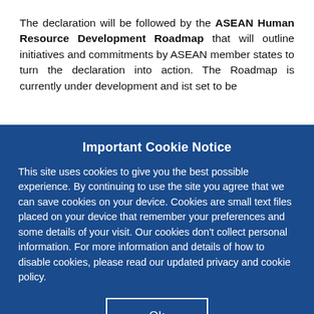The declaration will be followed by the ASEAN Human Resource Development Roadmap that will outline initiatives and commitments by ASEAN member states to turn the declaration into action. The Roadmap is currently under development and ist set to be
Important Cookie Notice
This site uses cookies to give you the best possible experience. By continuing to use the site you agree that we can save cookies on your device. Cookies are small text files placed on your device that remember your preferences and some details of your visit. Our cookies don't collect personal information. For more information and details of how to disable cookies, please read our updated privacy and cookie policy.
Ok